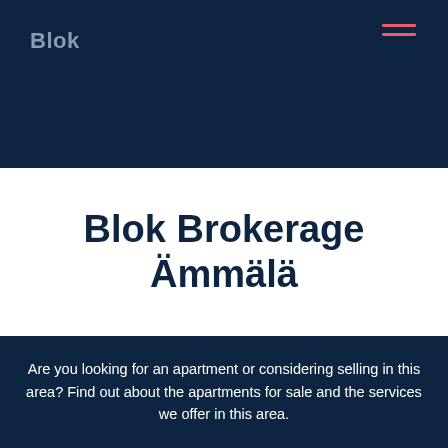Blok
Blok Brokerage Ämmälä
Are you looking for an apartment or considering selling in this area? Find out about the apartments for sale and the services we offer in this area.